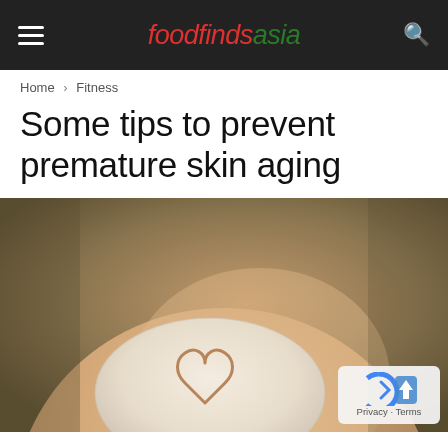foodfindsasia
Home > Fitness
Some tips to prevent premature skin aging
[Figure (photo): Close-up photo of a hand or rounded skin surface with white cream applied in a circular patch, and a heart shape drawn into the cream. Background is olive/tan colored.]